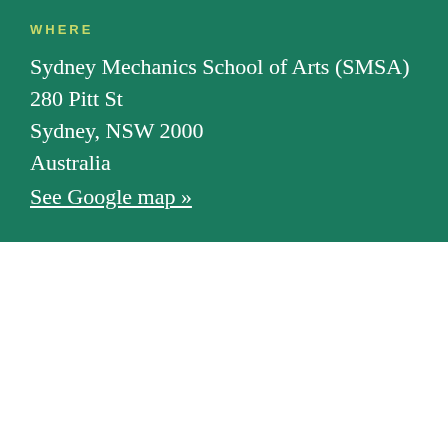WHERE
Sydney Mechanics School of Arts (SMSA)
280 Pitt St
Sydney, NSW 2000
Australia
See Google map »